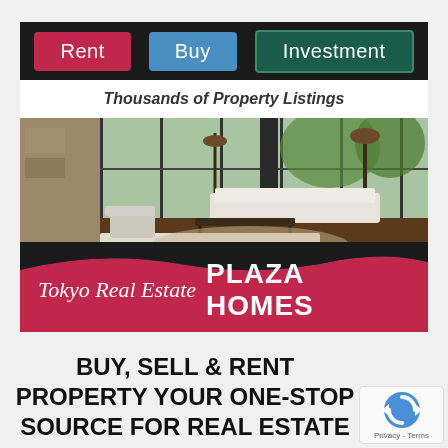[Figure (advertisement): Tokyo Real Estate Plaza Homes advertisement banner showing Rent, Buy, Investment nav buttons, tagline 'Thousands of Property Listings', interior photo of luxury living room, and Plaza Homes branding on blue footer with crimson wave]
BUY, SELL & RENT PROPERTY YOUR ONE-STOP SOURCE FOR REAL ESTATE IN TOKYO